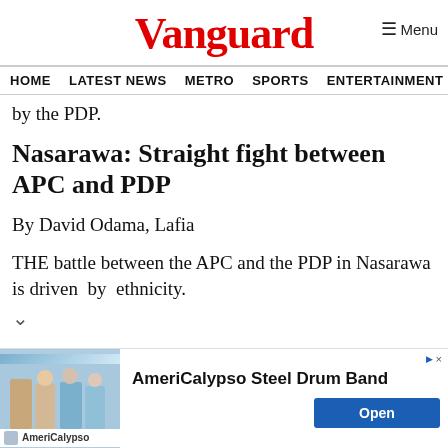Vanguard
HOME  LATEST NEWS  METRO  SPORTS  ENTERTAINMENT  VIDEOS
by the PDP.
Nasarawa: Straight fight between APC and PDP
By David Odama, Lafia
THE battle between the APC and the PDP in Nasarawa is driven  by  ethnicity.
[Figure (photo): Advertisement banner for AmeriCalypso Steel Drum Band with photo of dancers and an Open button]